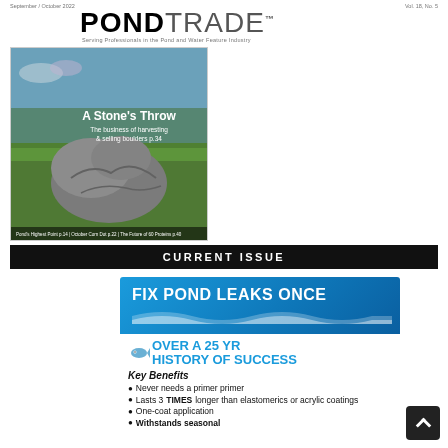September / October 2022   |   Vol. 18, No. 5
PONDTRADE™ — Serving Professionals in the Pond and Water Feature Industry
[Figure (photo): Magazine cover of PondTrade showing a large decorative stone in a grassy field with text 'A Stone's Throw - The business of harvesting & selling boulders p.34'. Bottom bar lists 'Pond's Highest Point p.14 | October Corn Dot p.22 | The Future of 60 Proteins p.40']
CURRENT ISSUE
[Figure (infographic): Advertisement for pond leak repair product. Header: 'FIX POND LEAKS ONCE' in bold white on blue gradient. Below: fish graphic with 'OVER A 25 YR HISTORY OF SUCCESS' in bold blue text. Key Benefits listed: Never needs a primer primer; Lasts 3 TIMES longer than elastomerics or acrylic coatings; One-coat application; Withstands seasonal (cut off)]